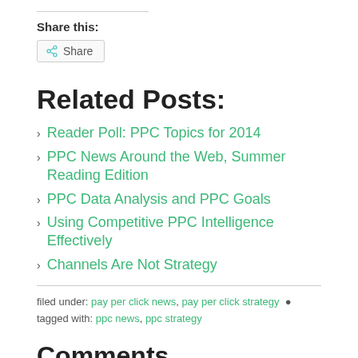Share this:
Share
Related Posts:
Reader Poll: PPC Topics for 2014
PPC News Around the Web, Summer Reading Edition
PPC Data Analysis and PPC Goals
Using Competitive PPC Intelligence Effectively
Channels Are Not Strategy
filed under: pay per click news, pay per click strategy · tagged with: ppc news, ppc strategy
Comments